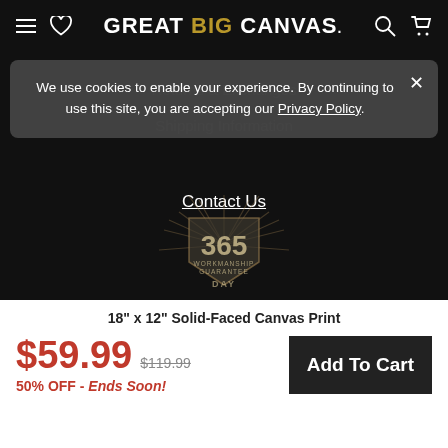Great BIG Canvas
We use cookies to enable your experience. By continuing to use this site, you are accepting our Privacy Policy.
Returns & Exchanges
Shipping Information
Contact Us
[Figure (logo): 365 Workmanship Guarantee Day badge/shield with sunburst rays on dark background]
18" x 12" Solid-Faced Canvas Print
$59.99  $119.99
50% OFF - Ends Soon!
Add To Cart